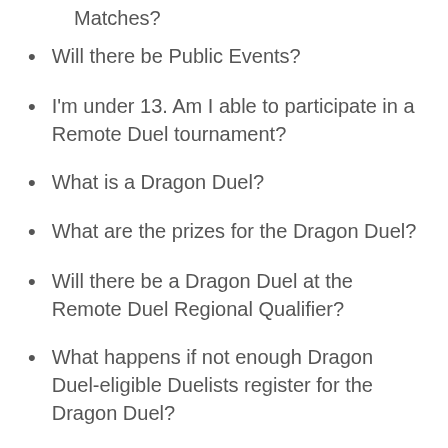Matches?
Will there be Public Events?
I'm under 13. Am I able to participate in a Remote Duel tournament?
What is a Dragon Duel?
What are the prizes for the Dragon Duel?
Will there be a Dragon Duel at the Remote Duel Regional Qualifier?
What happens if not enough Dragon Duel-eligible Duelists register for the Dragon Duel?
Will the Regional Qualifier have any perks if I am a current or former UDS Invitational Champion?
How long will the Regional Qualifier tournament last?